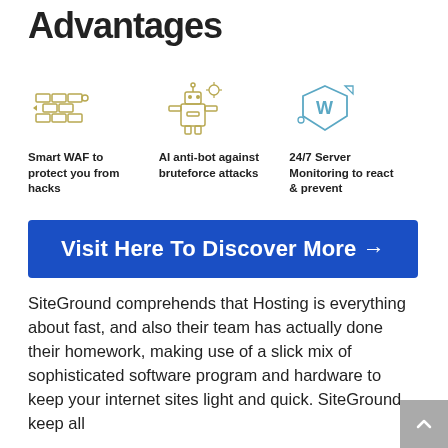Advantages
[Figure (illustration): Three icons in a row: Smart WAF firewall icon, AI anti-bot robot icon, 24/7 server monitoring WordPress shield icon]
Smart WAF to protect you from hacks
AI anti-bot against bruteforce attacks
24/7 Server Monitoring to react & prevent
Visit Here To Discover More →
SiteGround comprehends that Hosting is everything about fast, and also their team has actually done their homework, making use of a slick mix of sophisticated software program and hardware to keep your internet sites light and quick. SiteGround keep all